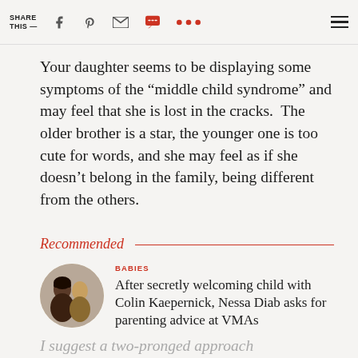SHARE THIS —
Your daughter seems to be displaying some symptoms of the “middle child syndrome” and may feel that she is lost in the cracks.  The older brother is a star, the younger one is too cute for words, and she may feel as if she doesn’t belong in the family, being different from the others.
Recommended
BABIES
After secretly welcoming child with Colin Kaepernick, Nessa Diab asks for parenting advice at VMAs
I suggest a two-pronged approach